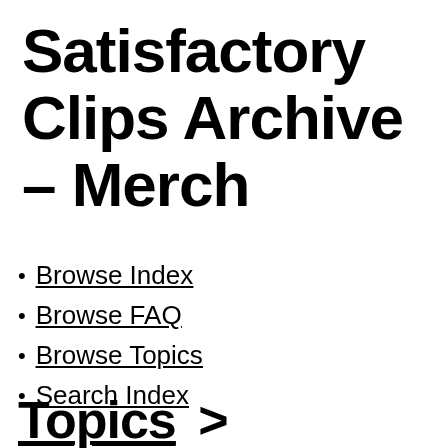Satisfactory Clips Archive – Merch
Browse Index
Browse FAQ
Browse Topics
Search Index
Topics >